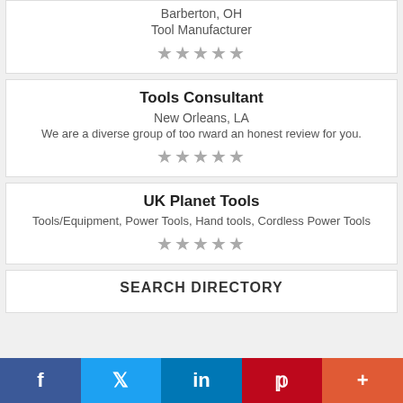Barberton, OH
Tool Manufacturer
★★★★★
Tools Consultant
New Orleans, LA
We are a diverse group of too rward an honest review for you.
★★★★★
UK Planet Tools
Tools/Equipment, Power Tools, Hand tools, Cordless Power Tools
★★★★★
SEARCH DIRECTORY
[Figure (infographic): Social media share bar with Facebook, Twitter, LinkedIn, Pinterest, and More buttons]